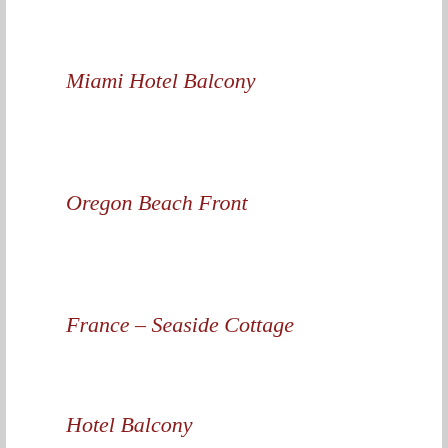Miami Hotel Balcony
Oregon Beach Front
France – Seaside Cottage
Hotel Balcony